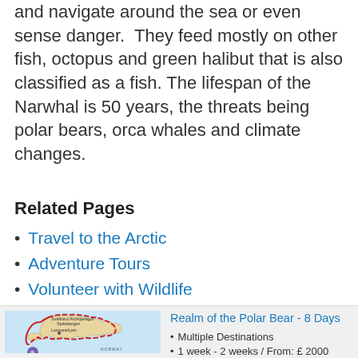and navigate around the sea or even sense danger.  They feed mostly on other fish, octopus and green halibut that is also classified as a fish. The lifespan of the Narwhal is 50 years, the threats being polar bears, orca whales and climate changes.
Related Pages
Travel to the Arctic
Adventure Tours
Volunteer with Wildlife
[Figure (map): Map showing Svalbard Archipelago/Spitsbergen area with Longyearbyen marked, a red route line and dashed route around the islands, with Norway label.]
Realm of the Polar Bear - 8 Days
Multiple Destinations
1 week - 2 weeks / From: £ 2000